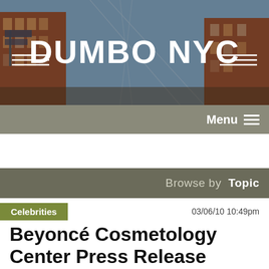[Figure (photo): DUMBO NYC website header banner with urban streetscape showing brick buildings and a bridge in the background, with large white text 'DUMBO NYC' overlaid]
Menu ☰
Browse by  Topic
Celebrities    03/06/10 10:49pm
Beyoncé Cosmetology Center Press Release
by dumbonyc
Tweet